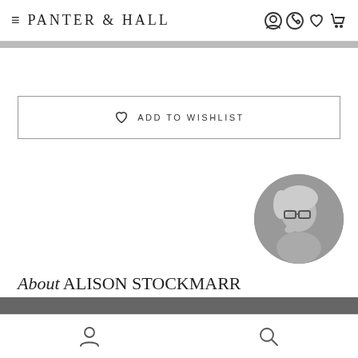PANTER & HALL
[Figure (other): Button with heart icon: ADD TO WISHLIST]
[Figure (photo): Circular black and white portrait photo of Alison Stockmarr, a woman with glasses looking thoughtful]
About ALISON STOCKMARR
See more +
Bottom navigation bar with person icon and search icon